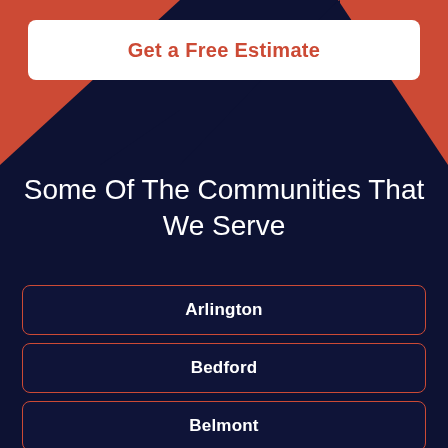[Figure (infographic): Dark navy background with red/salmon triangular geometric shapes in the top corners forming a header graphic area.]
Get a Free Estimate
Some Of The Communities That We Serve
Arlington
Bedford
Belmont
Cambridge
Concord